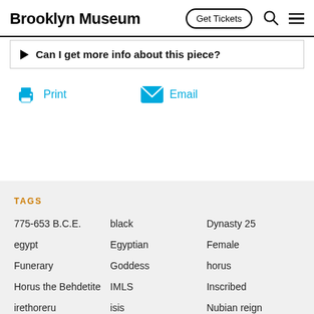Brooklyn Museum  Get Tickets
Can I get more info about this piece?
Print
Email
TAGS
775-653 B.C.E.
black
Dynasty 25
egypt
Egyptian
Female
Funerary
Goddess
horus
Horus the Behdetite
IMLS
Inscribed
irethoreru
isis
Nubian reign